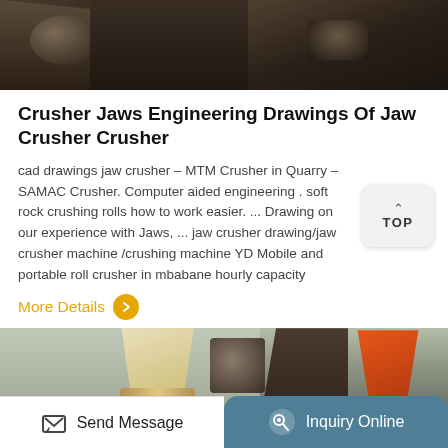[Figure (photo): Close-up photo of jaw crusher machinery parts, dark industrial metal components]
Crusher Jaws Engineering Drawings Of Jaw Crusher Crusher
cad drawings jaw crusher – MTM Crusher in Quarry – SAMAC Crusher. Computer aided engineering . soft rock crushing rolls how to work easier. ... Drawing on our experience with Jaws, ... jaw crusher drawing/jaw crusher machine /crushing machine YD Mobile and portable roll crusher in mbabane hourly capacity
More Details
[Figure (photo): Photo of cone crusher equipment including a cream/yellow colored cone and an orange cone crusher component]
Send Message   Inquiry Online